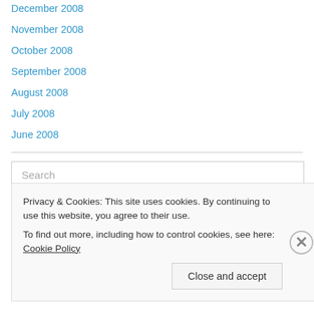December 2008
November 2008
October 2008
September 2008
August 2008
July 2008
June 2008
Search
Privacy & Cookies: This site uses cookies. By continuing to use this website, you agree to their use.
To find out more, including how to control cookies, see here: Cookie Policy
Close and accept